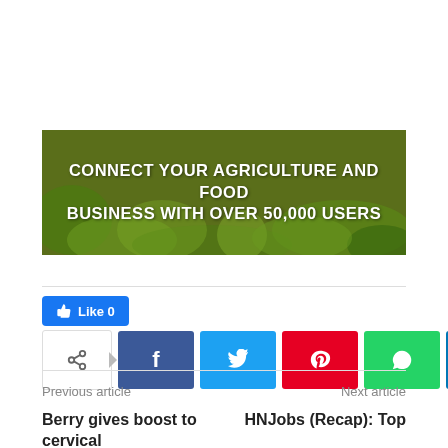[Figure (infographic): Banner advertisement with green/olive background and vegetable imagery saying CONNECT YOUR AGRICULTURE AND FOOD BUSINESS WITH OVER 50,000 USERS]
[Figure (infographic): Facebook Like button showing Like 0, and social sharing buttons for Facebook, Twitter, Pinterest, WhatsApp, LinkedIn]
Previous article
Next article
Berry gives boost to cervical
HNJobs (Recap): Top